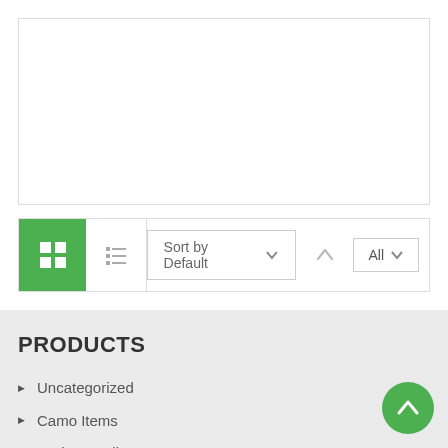[Figure (screenshot): White empty bordered box at the top of the page, part of a webpage UI]
[Figure (screenshot): Toolbar with grid/list view icons, Sort by Default dropdown, an up arrow button, and an All dropdown filter]
PRODUCTS
Uncategorized
Camo Items
Carbon Wallet
Glassware
Groovy Grips Phone Grips.
Knitted hats
Light Up your Logo Items.